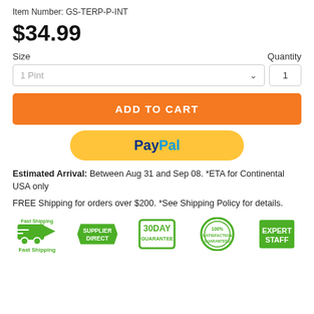Item Number: GS-TERP-P-INT
$34.99
Size
Quantity
1 Pint
1
ADD TO CART
[Figure (logo): PayPal payment button with yellow/gold rounded rectangle background and PayPal text in blue]
Estimated Arrival: Between Aug 31 and Sep 08. *ETA for Continental USA only
FREE Shipping for orders over $200. *See Shipping Policy for details.
[Figure (infographic): Five green trust badges: Fast Shipping (truck icon), Supplier Direct (arrow badge), 30 Day Guarantee (stamp), 100% Satisfaction Guaranteed (circular stamp), Expert Staff (square badge)]